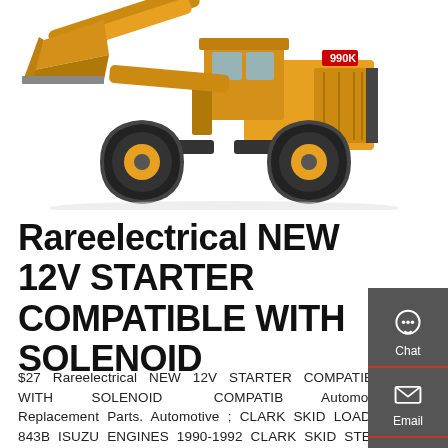[Figure (photo): Yellow CAT 990K wheel loader construction machine photographed from the side-front angle on white background]
Rareelectrical NEW 12V STARTER COMPATIBLE WITH SOLENOID
$27 Rareelectrical NEW 12V STARTER COMPATIBLE WITH SOLENOID COMPATIB Automotive Replacement Parts. Automotive ; CLARK SKID LOADER 843B ISUZU ENGINES 1990-1992 CLARK SKID STEER LOADER 853 / 853H ISUZU ENGINES 1991-1995 CLARK SKID STEER LOADER 943